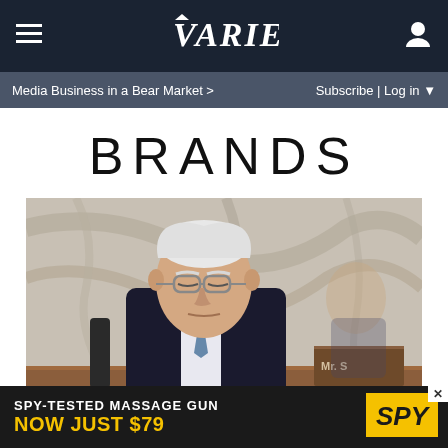VARIETY — Media Business in a Bear Market > | Subscribe | Log in
BRANDS
[Figure (photo): Elderly man with white hair and glasses wearing a dark suit and tie, seated at a hearing table with a marble background, appears to be Bernie Sanders at a Senate hearing.]
ROLLING STONE
Bernie Sanders: GOP 'Squawking' Over Student Debt
[Figure (infographic): Advertisement banner: SPY-TESTED MASSAGE GUN NOW JUST $79 with SPY logo in yellow and black]